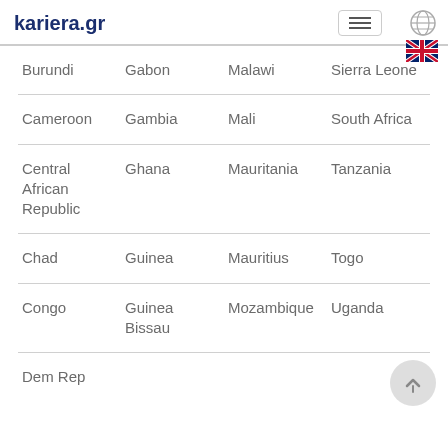kariera.gr
| Burundi | Gabon | Malawi | Sierra Leone |
| Cameroon | Gambia | Mali | South Africa |
| Central African Republic | Ghana | Mauritania | Tanzania |
| Chad | Guinea | Mauritius | Togo |
| Congo | Guinea Bissau | Mozambique | Uganda |
| Dem Rep |  |  |  |